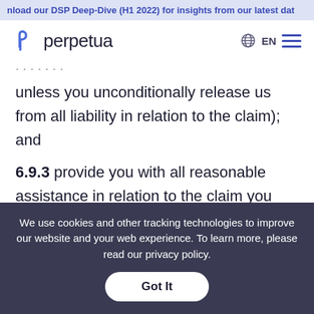nload our DSP Deep-Dive (H1 2022) for insights from our latest dat
[Figure (logo): Perpetua logo with stylized P icon and wordmark]
(partial/truncated text from previous section)
unless you unconditionally release us from all liability in relation to the claim); and
6.9.3 provide you with all reasonable assistance in relation to the claim you may request at your expense.
We use cookies and other tracking technologies to improve our website and your web experience. To learn more, please read our privacy policy.